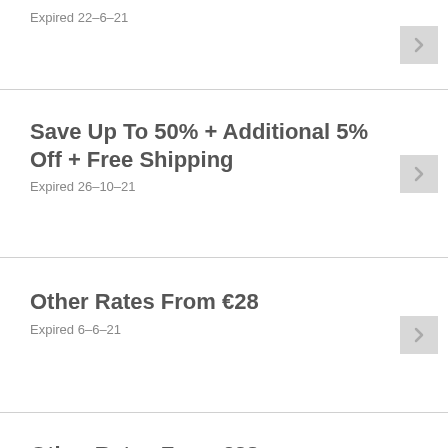Expired 22-6-21
Save Up To 50% + Additional 5% Off + Free Shipping
Expired 26-10-21
Other Rates From €28
Expired 6-6-21
Other Rates From €28
Expired 18-8-21